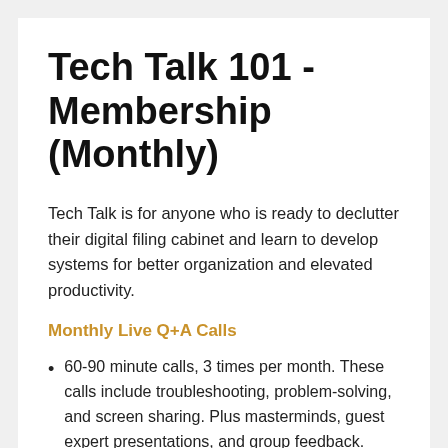Tech Talk 101 - Membership (Monthly)
Tech Talk is for anyone who is ready to declutter their digital filing cabinet and learn to develop systems for better organization and elevated productivity.
Monthly Live Q+A Calls
60-90 minute calls, 3 times per month. These calls include troubleshooting, problem-solving, and screen sharing. Plus masterminds, guest expert presentations, and group feedback.